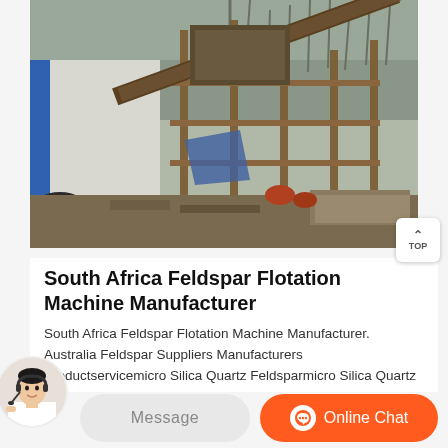[Figure (photo): Outdoor industrial mining or construction site with large rusty metal scaffolding, conveyor belts, and machinery. Bare trees visible in the background. Site appears to be a mineral processing or quarrying operation.]
South Africa Feldspar Flotation Machine Manufacturer
South Africa Feldspar Flotation Machine Manufacturer. Australia Feldspar Suppliers Manufacturers Productservicemicro Silica Quartz Feldsparmicro Silica Quartz Feldspar APOLLO GLOBAL SOLUTIONS PTY LTD Apollo Global Solutions Is An Australian